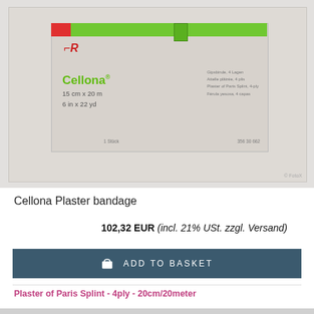[Figure (photo): Product photo of Cellona Plaster bandage box by LR. Box is beige/grey with a green and red stripe at top. Front shows the LR logo in red, product name 'Cellona' in green, dimensions '15 cm x 20 m / 6 in x 22 yd', and multilingual descriptions for Plaster of Paris Splint 4-ply on the right side. Watermark 'FotoX' in bottom right.]
Cellona Plaster bandage
102,32 EUR (incl. 21% USt. zzgl. Versand)
ADD TO BASKET
Plaster of Paris Splint - 4ply - 20cm/20meter